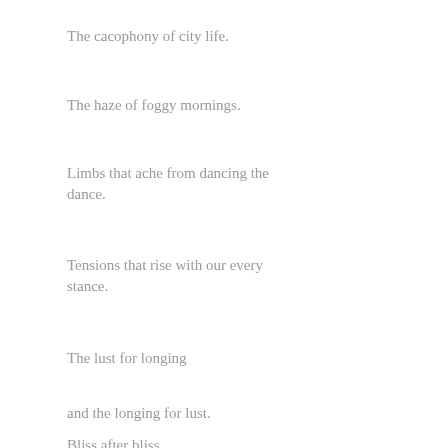The cacophony of city life.
The haze of foggy mornings.
Limbs that ache from dancing the dance.
Tensions that rise with our every stance.
The lust for longing
and the longing for lust.
Bliss after bliss.